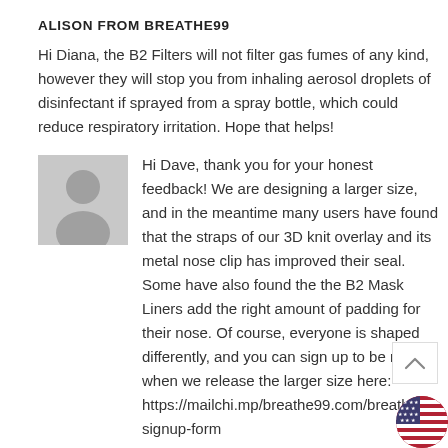ALISON FROM BREATHE99
Hi Diana, the B2 Filters will not filter gas fumes of any kind, however they will stop you from inhaling aerosol droplets of disinfectant if sprayed from a spray bottle, which could reduce respiratory irritation. Hope that helps!
[Figure (illustration): Gray silhouette avatar icon of a generic person]
Hi Dave, thank you for your honest feedback! We are designing a larger size, and in the meantime many users have found that the straps of our 3D knit overlay and its metal nose clip has improved their seal. Some have also found the the B2 Mask Liners add the right amount of padding for their nose. Of course, everyone is shaped differently, and you can sign up to be notified when we release the larger size here: https://mailchi.mp/breathe99.com/breathe99-signup-form
[Figure (illustration): US flag icon with stars and stripes in a circular badge]
[Figure (other): Scroll-to-top chevron button (white box with upward caret)]